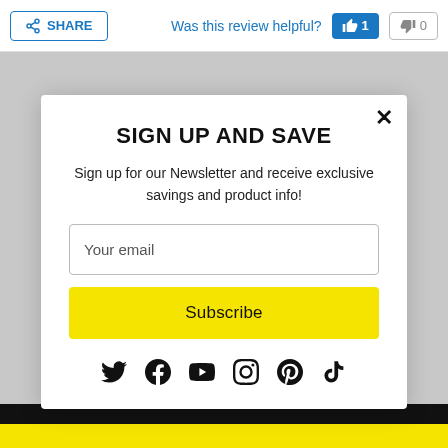SHARE | Was this review helpful? 1 0
SIGN UP AND SAVE
Sign up for our Newsletter and receive exclusive savings and product info!
Your email
Subscribe
[Figure (infographic): Social media icons: Twitter, Facebook, YouTube, Instagram, Pinterest, TikTok]